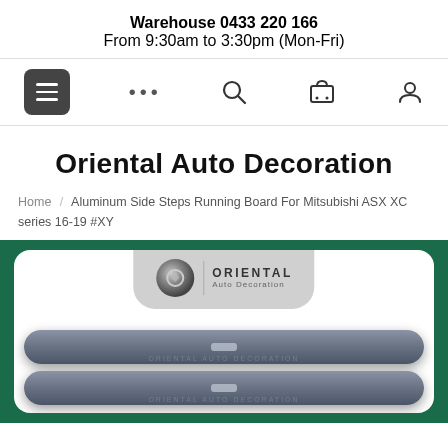Warehouse 0433 220 166
From 9:30am to 3:30pm (Mon-Fri)
[Figure (screenshot): Navigation bar with hamburger menu icon, ellipsis dots, search icon, cart icon, and user profile icon]
Oriental Auto Decoration
Home / Aluminum Side Steps Running Board For Mitsubishi ASX XC series 16-19 #XY
[Figure (photo): Product photo showing two aluminum side step running boards with Oriental Auto Decoration branding badge, displayed against a dark green background with white rounded rectangle border]